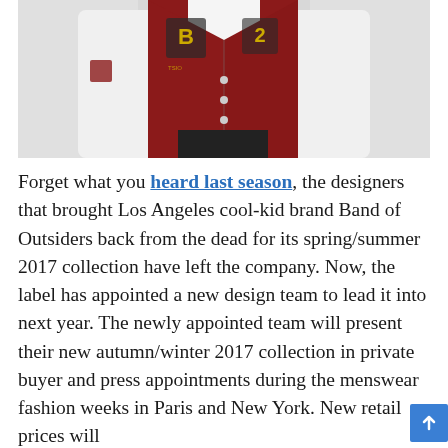[Figure (photo): Person wearing a red and white varsity/letterman jacket with patches and lettering, photographed against a light gray background. Only the torso and lower body visible.]
Forget what you heard last season, the designers that brought Los Angeles cool-kid brand Band of Outsiders back from the dead for its spring/summer 2017 collection have left the company. Now, the label has appointed a new design team to lead it into next year. The newly appointed team will present their new autumn/winter 2017 collection in private buyer and press appointments during the menswear fashion weeks in Paris and New York. New retail prices will